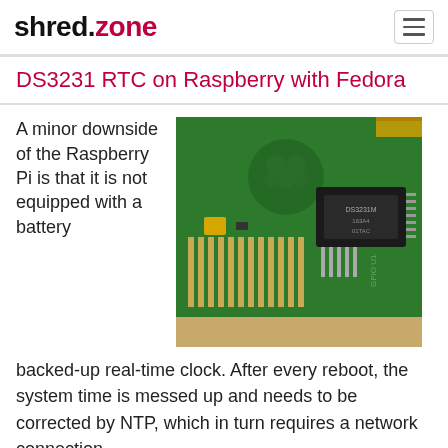shred.zone
DS3231 RTC on Raspberry with Fedora
[Figure (photo): Close-up photo of a Raspberry Pi circuit board with a DS3231 RTC module attached to the GPIO header pins, showing green PCB, gold pins, and the DS3231 chip label]
A minor downside of the Raspberry Pi is that it is not equipped with a battery backed-up real-time clock. After every reboot, the system time is messed up and needs to be corrected by NTP, which in turn requires a network connection.